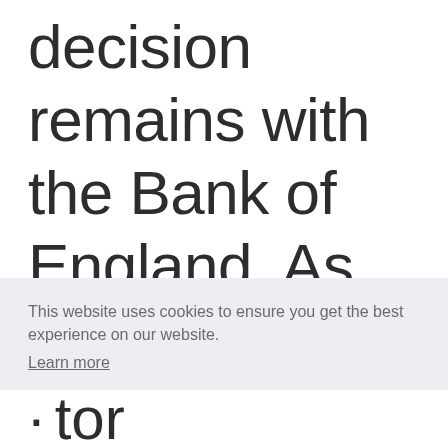decision remains with the Bank of England. As at 27 April, over £14
This website uses cookies to ensure you get the best experience on our website. Learn more
Got it!
· tor